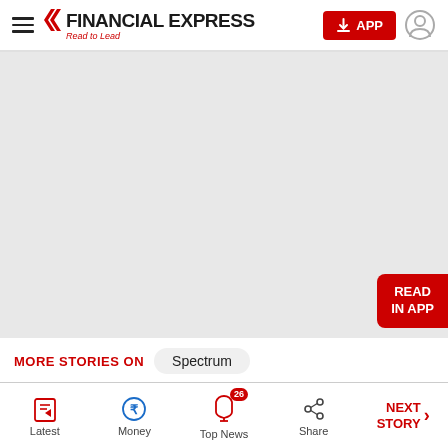Financial Express – Read to Lead
[Figure (other): Gray advertisement/content placeholder area with a 'READ IN APP' red button at bottom right]
MORE STORIES ON   Spectrum
Latest | Money | Top News (26) | Share | NEXT STORY